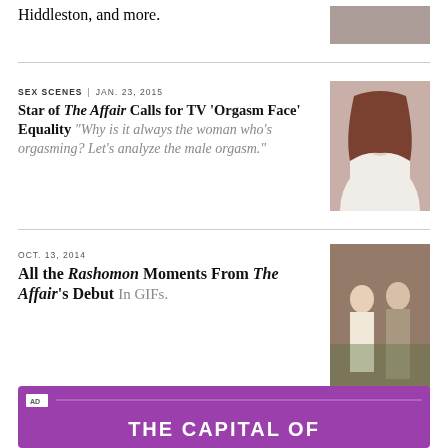Hiddleston, and more.
[Figure (photo): Cropped photo, partially visible at top right]
SEX SCENES | JAN. 23, 2015
Star of The Affair Calls for TV 'Orgasm Face' Equality
“Why is it always the woman who’s orgasming? Let’s analyze the male orgasm.”
[Figure (photo): Photo of a woman with brown hair and red lipstick, smiling]
OCT. 13, 2014
All the Rashomon Moments From The Affair’s Debut
In GIFs.
[Figure (photo): Photo of a man and woman standing close together outdoors]
[Figure (other): Advertisement banner with purple background reading THE CAPITAL OF]